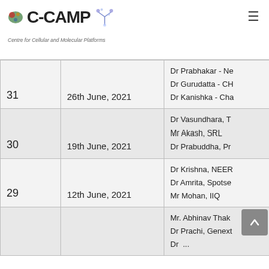C-CAMP Centre for Cellular and Molecular Platforms
| # | Date | Participants |
| --- | --- | --- |
| 31 | 26th June, 2021 | Dr Prabhakar - Ne...
Dr Gurudatta - CH...
Dr Kanishka - Cha... |
| 30 | 19th June, 2021 | Dr Vasundhara, T...
Mr Akash, SRL
Dr Prabuddha, Pr... |
| 29 | 12th June, 2021 | Dr Krishna, NEER...
Dr Amrita, Spotse...
Mr Mohan, IIQ |
|  |  | Mr. Abhinav Thak...
Dr Prachi, Genext...
Dr ... |